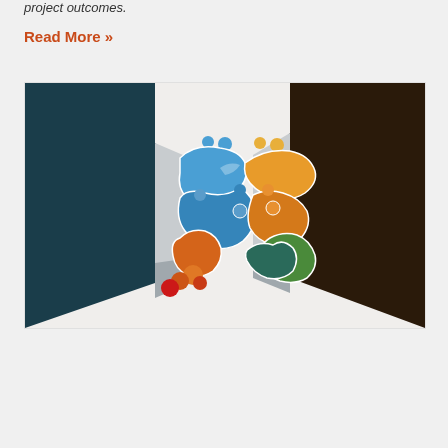project outcomes.
Read More »
[Figure (illustration): Colorful puzzle-piece handshake illustration: two business people (one in dark teal suit, one in dark brown suit) shaking hands, with the joined hands composed of interlocking puzzle pieces in blue, orange, green, red, and teal colors on a light gray background.]